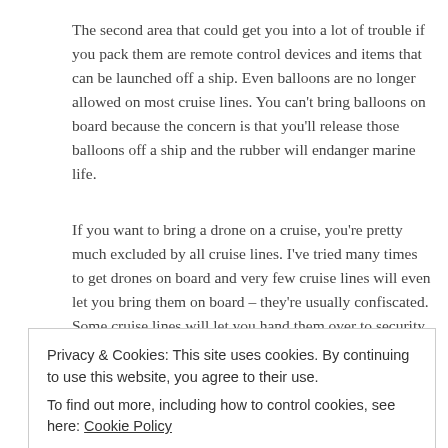The second area that could get you into a lot of trouble if you pack them are remote control devices and items that can be launched off a ship. Even balloons are no longer allowed on most cruise lines. You can't bring balloons on board because the concern is that you'll release those balloons off a ship and the rubber will endanger marine life.
If you want to bring a drone on a cruise, you're pretty much excluded by all cruise lines. I've tried many times to get drones on board and very few cruise lines will even let you bring them on board – they're usually confiscated. Some cruise lines will let you hand them over to security and they will let you get it when you get on and off the ship, but pretty much every single cruise ship will ban drones.
security – they will only let you use them when you
Privacy & Cookies: This site uses cookies. By continuing to use this website, you agree to their use.
To find out more, including how to control cookies, see here: Cookie Policy
[Close and accept]